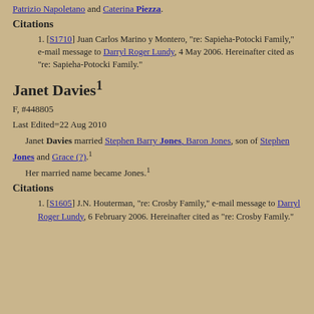Patrizio Napoletano and Caterina Piezza.
Citations
[S1710] Juan Carlos Marino y Montero, "re: Sapieha-Potocki Family," e-mail message to Darryl Roger Lundy, 4 May 2006. Hereinafter cited as "re: Sapieha-Potocki Family."
Janet Davies¹
F, #448805
Last Edited=22 Aug 2010
Janet Davies married Stephen Barry Jones, Baron Jones, son of Stephen Jones and Grace (?).¹ Her married name became Jones.¹
Citations
[S1605] J.N. Houterman, "re: Crosby Family," e-mail message to Darryl Roger Lundy, 6 February 2006. Hereinafter cited as "re: Crosby Family."